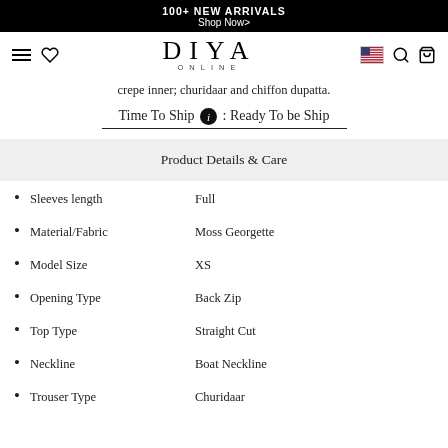100+ NEW ARRIVALS
Shop Now>
[Figure (logo): DIYA ONLINE logo with navigation icons (hamburger menu, heart, flag, search, cart)]
crepe inner; churidaar and chiffon dupatta.
Time To Ship ℹ : Ready To be Ship
Product Details & Care
Sleeves length   Full
Material/Fabric   Moss Georgette
Model Size   XS
Opening Type   Back Zip
Top Type   Straight Cut
Neckline   Boat Neckline
Trouser Type   Churidaar